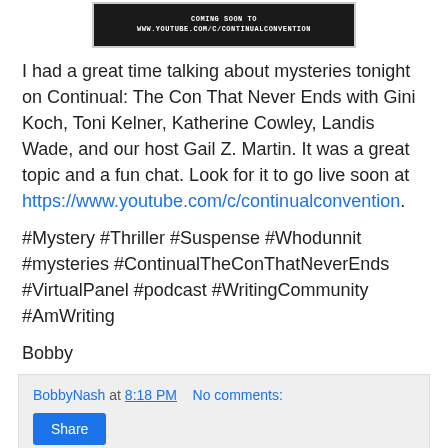[Figure (screenshot): Dark banner image showing 'COMING SOON TO WWW.YOUTUBE.COM/C/CONTINUALCONVENTION' in white monospace text on black background]
I had a great time talking about mysteries tonight on Continual: The Con That Never Ends with Gini Koch, Toni Kelner, Katherine Cowley, Landis Wade, and our host Gail Z. Martin. It was a great topic and a fun chat. Look for it to go live soon at https://www.youtube.com/c/continualconvention.
#Mystery #Thriller #Suspense #Whodunnit #mysteries #ContinualTheConThatNeverEnds #VirtualPanel #podcast #WritingCommunity #AmWriting
Bobby
BobbyNash at 8:18 PM   No comments:
Share
DOMINO LADY IS BACK IN ACTION